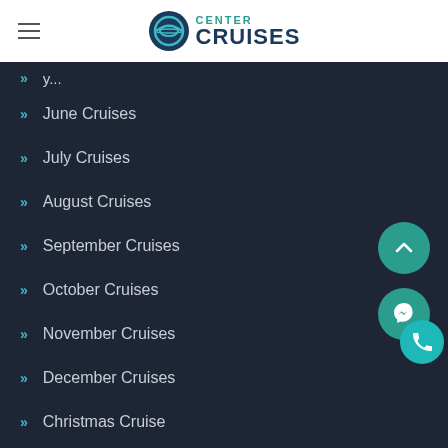CENTER CRUISES
June Cruises
July Cruises
August Cruises
September Cruises
October Cruises
November Cruises
December Cruises
Christmas Cruise
New Years cruises
Popular Cruise companies
MSC Cruises
Royal Caribbean International